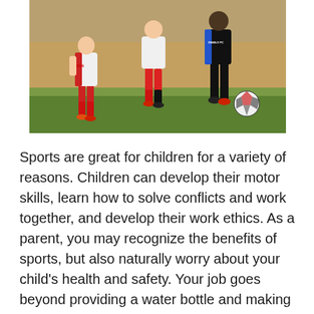[Figure (photo): Children playing soccer on a field. Two players in red and white San Jose uniforms and one in black Diablo FC uniform competing for a red and white soccer ball on a dirt and grass field.]
Sports are great for children for a variety of reasons. Children can develop their motor skills, learn how to solve conflicts and work together, and develop their work ethics. As a parent, you may recognize the benefits of sports, but also naturally worry about your child's health and safety. Your job goes beyond providing a water bottle and making sure your